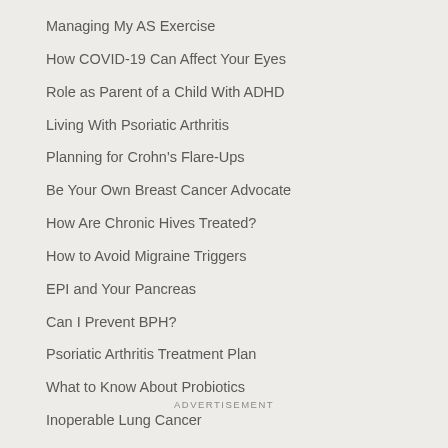Managing My AS Exercise
How COVID-19 Can Affect Your Eyes
Role as Parent of a Child With ADHD
Living With Psoriatic Arthritis
Planning for Crohn's Flare-Ups
Be Your Own Breast Cancer Advocate
How Are Chronic Hives Treated?
How to Avoid Migraine Triggers
EPI and Your Pancreas
Can I Prevent BPH?
Psoriatic Arthritis Treatment Plan
What to Know About Probiotics
Inoperable Lung Cancer
ADVERTISEMENT